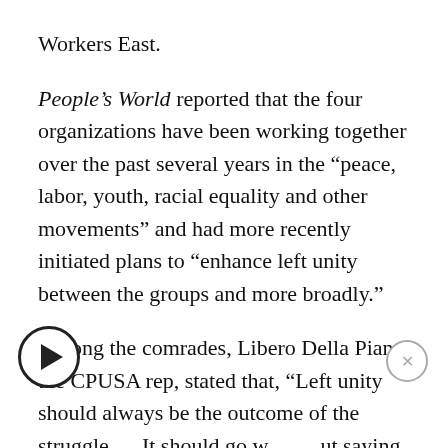Workers East.
People’s World reported that the four organizations have been working together over the past several years in the “peace, labor, youth, racial equality and other movements” and had more recently initiated plans to “enhance left unity between the groups and more broadly.”
Among the comrades, Libero Della Piana, the CPUSA rep, stated that, “Left unity should always be the outcome of the struggle…. It should go without saying that left unity cannot distract us from the current democratic and class struggles… A bigger, broader movement more engaged in the